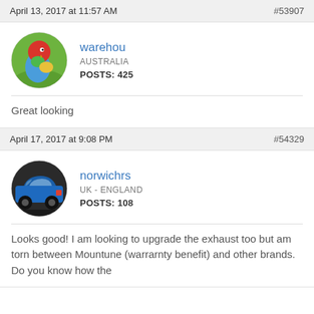April 13, 2017 at 11:57 AM  #53907
[Figure (photo): Circular avatar of a colorful parrot (rosella) on grass]
warehou
AUSTRALIA
POSTS: 425
Great looking
April 17, 2017 at 9:08 PM  #54329
[Figure (photo): Circular avatar of a blue hatchback car]
norwichrs
UK - ENGLAND
POSTS: 108
Looks good! I am looking to upgrade the exhaust too but am torn between Mountune (warrarnty benefit) and other brands. Do you know how the